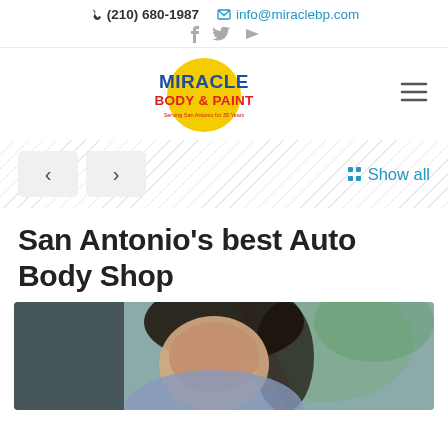✆ (210) 680-1987  ✉ info@miraclebp.com
[Figure (logo): Miracle Body & Paint logo — yellow circle with blue 'MIRACLE' text and red 'BODY & PAINT' text, tagline 'Serving San Antonio for 35 Years']
[Figure (infographic): Navigation carousel controls: left arrow button, right arrow button, and 'Show all' link with grid icon]
San Antonio's best Auto Body Shop
[Figure (photo): Woman sitting in car driver seat covering face with hand, distressed expression, blurred green background outside window]